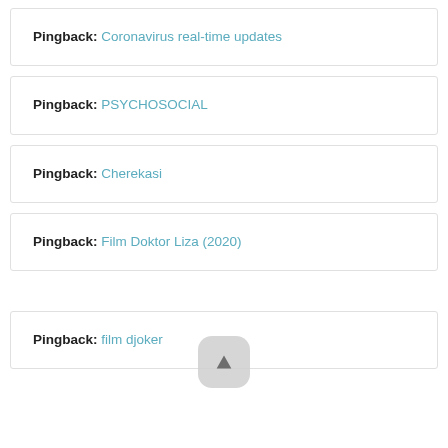Pingback: Coronavirus real-time updates
Pingback: PSYCHOSOCIAL
Pingback: Cherekasi
Pingback: Film Doktor Liza (2020)
Pingback: film djoker